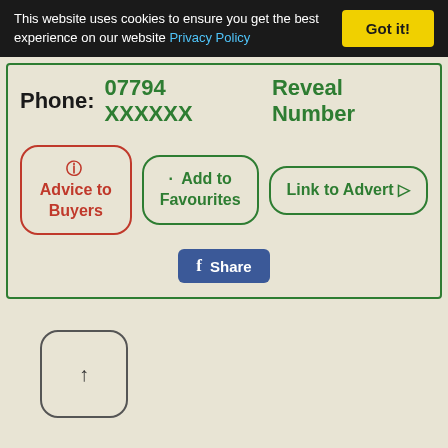This website uses cookies to ensure you get the best experience on our website Privacy Policy Got it!
Phone: 07794 XXXXXX   Reveal Number
Advice to Buyers
Add to Favourites
Link to Advert
Share
[Figure (other): Back to top arrow button - rounded square button with an upward arrow]